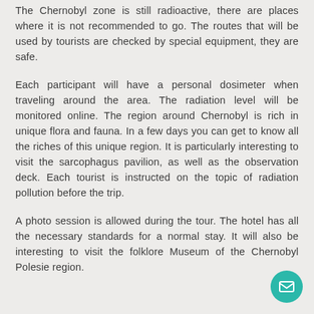The Chernobyl zone is still radioactive, there are places where it is not recommended to go. The routes that will be used by tourists are checked by special equipment, they are safe.
Each participant will have a personal dosimeter when traveling around the area. The radiation level will be monitored online. The region around Chernobyl is rich in unique flora and fauna. In a few days you can get to know all the riches of this unique region. It is particularly interesting to visit the sarcophagus pavilion, as well as the observation deck. Each tourist is instructed on the topic of radiation pollution before the trip.
A photo session is allowed during the tour. The hotel has all the necessary standards for a normal stay. It will also be interesting to visit the folklore Museum of the Chernobyl Polesie region.